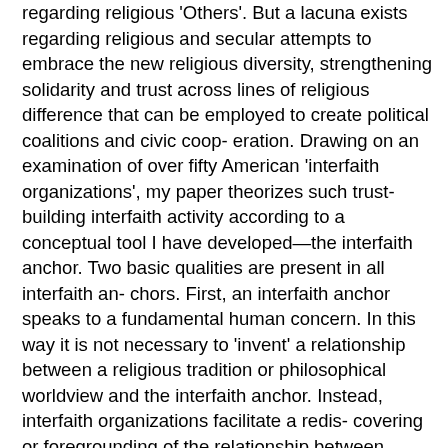regarding religious 'Others'. But a lacuna exists regarding religious and secular attempts to embrace the new religious diversity, strengthening solidarity and trust across lines of religious difference that can be employed to create political coalitions and civic coop- eration. Drawing on an examination of over fifty American 'interfaith organizations', my paper theorizes such trust-building interfaith activity according to a conceptual tool I have developed—the interfaith anchor. Two basic qualities are present in all interfaith an- chors. First, an interfaith anchor speaks to a fundamental human concern. In this way it is not necessary to 'invent' a relationship between a religious tradition or philosophical worldview and the interfaith anchor. Instead, interfaith organizations facilitate a redis- covering or foregrounding of the relationship between various traditions and the interfaith anchor. Second, interfaith anchors connect the individual to a larger system. In doing so, they also provide ready-made analogies for interfaith activists